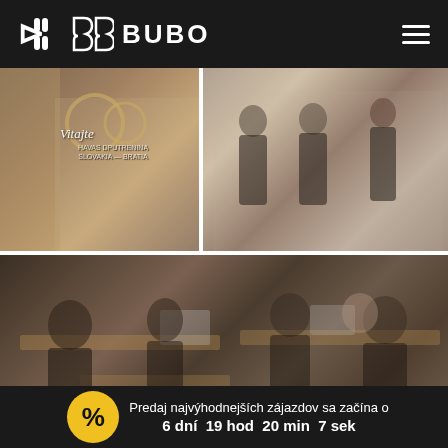BUBO
[Figure (photo): Three photos: top-left shows a window with 'Vitajte' text on glass door of BUBO travel agency; top-right shows three people in black t-shirts on a street; bottom shows a large group of people in black t-shirts seated at desks in an office environment.]
BUBO BASE CAMP
1200 m² of travel space in the very heart of k capital city. Our Base camp is not only
Predaj najvýhodnejších zájazdov sa začína o 6 dní  19 hod  20 min  7 sek